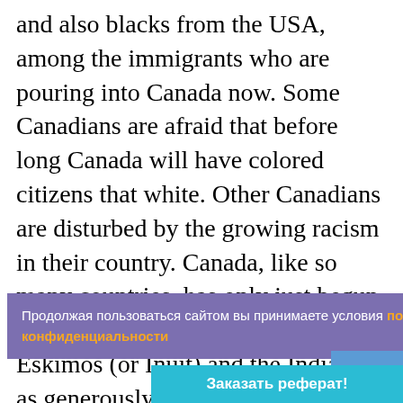and also blacks from the USA, among the immigrants who are pouring into Canada now. Some Canadians are afraid that before long Canada will have colored citizens that white. Other Canadians are disturbed by the growing racism in their country. Canada, like so many countries, has only just begun to treat her own non-white citizens, Eskimos (or Inuit) and the Indians, as generously as they deserve. The Indian and Eskimo populations have grown quite a lot in the last few years. The government is at last realizing that it has a duty towards this people that it has neglected for so long. All Canadian children have... rench and